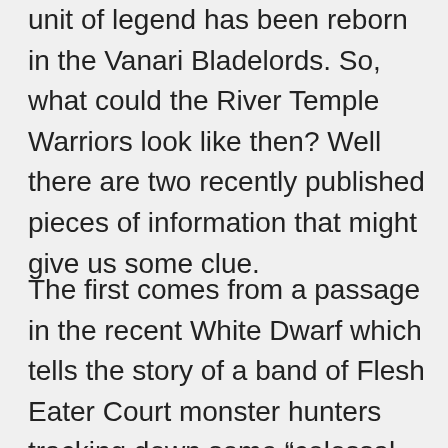Temple Warriors. We now know this is not the case as that unit of legend has been reborn in the Vanari Bladelords. So, what could the River Temple Warriors look like then? Well there are two recently published pieces of information that might give us some clue.
The first comes from a passage in the recent White Dwarf which tells the story of a band of Flesh Eater Court monster hunters tracking down some “colossal moss-covered pachyderm sages” along a Hyshian river. Some kind of Hippo or Elephant Spirit would certainly be in keeping with the trend of animal inspired Aelemental Spirits. The second clue appears in the “Broken Realms Teclis Revealed” video where at one point we appear to see a host of hooded figures armed with spears and swords marching to battle. There is a bit of debate at Sprues and Brews HQ as to whether these are some new Aelf unit or perhaps something else entirely (Undead perhaps?). Some of the figures appear to resemble Wyldwood Rangers whereas others appears to be exhibiting...